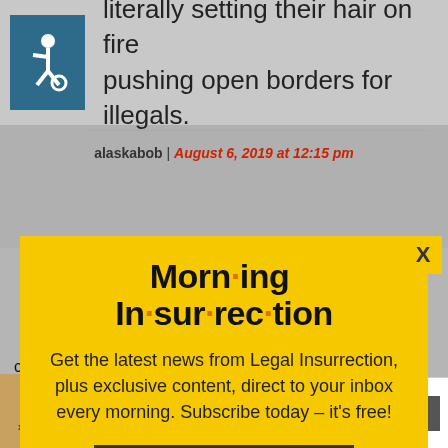[Figure (other): Wheelchair accessibility icon on teal background]
literally setting their hair on fire pushing open borders for illegals.
alaskabob | August 6, 2019 at 12:15 pm
[Figure (infographic): Morning Insurrection newsletter signup modal popup with yellow background. Title: 'Morn·ing In·sur·rec·tion'. Body: 'Get the latest news from Legal Insurrection, plus exclusive content, direct to your inbox every morning. Subscribe today – it's free!' Button: 'JOIN NOW']
shooter was goi after two targets... op
[Figure (other): Small X close button]
[Figure (other): Advertisement banner: Build Nuclear Now - Clean. Secure. Homegrown. with Open button]
consumerism, plastics and the